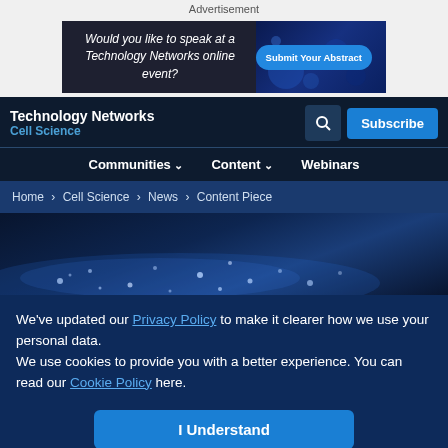Advertisement
[Figure (screenshot): Advertisement banner: 'Would you like to speak at a Technology Networks online event?' with 'Submit Your Abstract' button on dark background with blue nebula imagery]
Technology Networks | Cell Science
Communities ∨  Content ∨  Webinars
Home > Cell Science > News > Content Piece
[Figure (photo): Hero image: blue glowing particles/sparkles on dark navy background]
We've updated our Privacy Policy to make it clearer how we use your personal data.
We use cookies to provide you with a better experience. You can read our Cookie Policy here.
I Understand